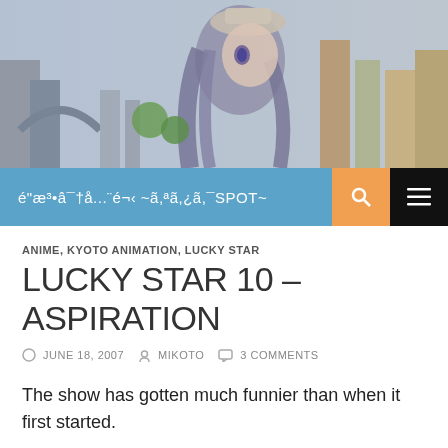[Figure (illustration): Anime character with long purple/grey hair wearing a white hat, standing against a cityscape background with buildings and sky]
é"æ³•â¯†å...¨é¬‹ ~ã,ªã,¿ã,¯SPOT~
ANIME, KYOTO ANIMATION, LUCKY STAR
LUCKY STAR 10 – ASPIRATION
JUNE 18, 2007  MIKOTO  3 COMMENTS
The show has gotten much funnier than when it first started.
I think slowly, but surely I'm becoming a Tsukasa fanboy. At